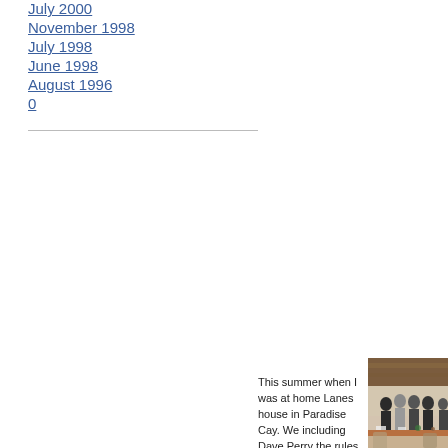July 2000
November 1998
July 1998
June 1998
August 1996
0
[Figure (photo): Group of people standing together indoors near a wooden dining table, taken in a room with a high wooden ceiling.]
This summer when I was at home Lanes house in Paradise Cay. We including Dave Perry the rules gen an amazing forum for practicing m